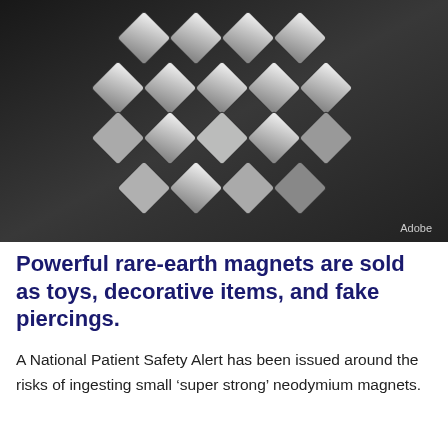[Figure (photo): Photograph of shiny silver neodymium cube magnets arranged in a chevron/arrow pattern on a dark background. Adobe watermark in bottom right corner.]
Powerful rare-earth magnets are sold as toys, decorative items, and fake piercings.
A National Patient Safety Alert has been issued around the risks of ingesting small ‘super strong’ neodymium magnets.